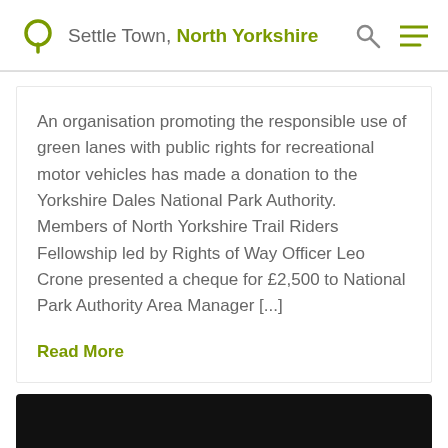Settle Town, North Yorkshire
An organisation promoting the responsible use of green lanes with public rights for recreational motor vehicles has made a donation to the Yorkshire Dales National Park Authority.   Members of North Yorkshire Trail Riders Fellowship led by Rights of Way Officer Leo Crone presented a cheque for £2,500 to National Park Authority Area Manager [...]
Read More